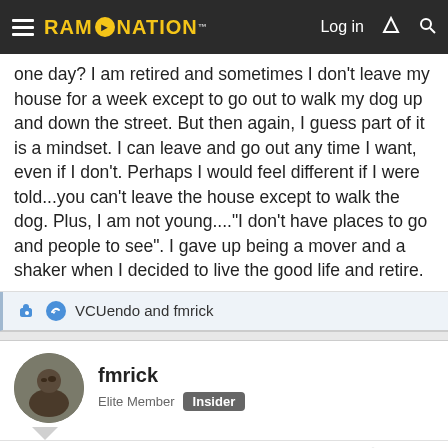RAM NATION — Log in
one day? I am retired and sometimes I don't leave my house for a week except to go out to walk my dog up and down the street. But then again, I guess part of it is a mindset. I can leave and go out any time I want, even if I don't. Perhaps I would feel different if I were told...you can't leave the house except to walk the dog. Plus, I am not young...."I don't have places to go and people to see". I gave up being a mover and a shaker when I decided to live the good life and retire.
VCUendo and fmrick
fmrick
Elite Member  Insider
Dec 2, 2021
#3,148
BradRamFan said:
one day? I am retired and sometimes I don't leave my house for a